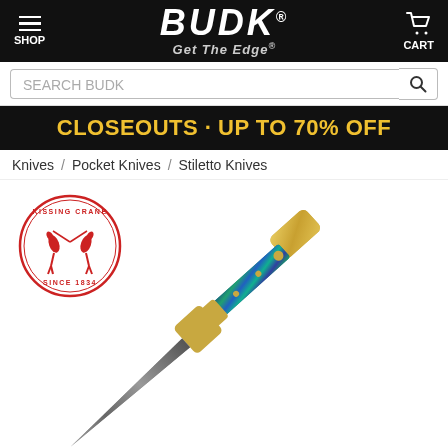SHOP  BUDK Get The Edge  CART
SEARCH BUDK
CLOSEOUTS · UP TO 70% OFF
Knives / Pocket Knives / Stiletto Knives
[Figure (photo): Kissing Crane brand logo — circular red stamp with two cranes and text 'KISSING CRANE SINCE 1834']
[Figure (photo): A stiletto pocket knife with iridescent abalone handle scales, gold-tone bolsters, and a Damascus steel blade with engraved guard]